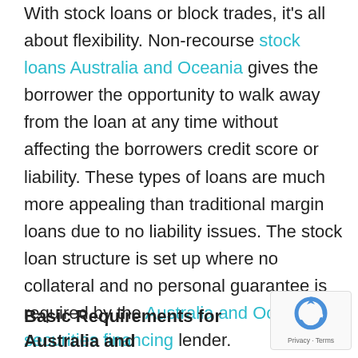With stock loans or block trades, it's all about flexibility. Non-recourse stock loans Australia and Oceania gives the borrower the opportunity to walk away from the loan at any time without affecting the borrowers credit score or liability. These types of loans are much more appealing than traditional margin loans due to no liability issues. The stock loan structure is set up where no collateral and no personal guarantee is required by the Australia and Oceania securities financing lender.
Basic Requirements for Australia and